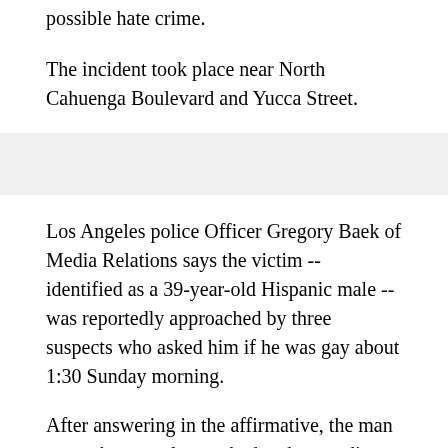possible hate crime.
The incident took place near North Cahuenga Boulevard and Yucca Street.
Los Angeles police Officer Gregory Baek of Media Relations says the victim -- identified as a 39-year-old Hispanic male -- was reportedly approached by three suspects who asked him if he was gay about 1:30 Sunday morning.
After answering in the affirmative, the man was subsequently attacked and, according to Baek, lost consciousness momentarily.
Police said the men only stopped beating the victim